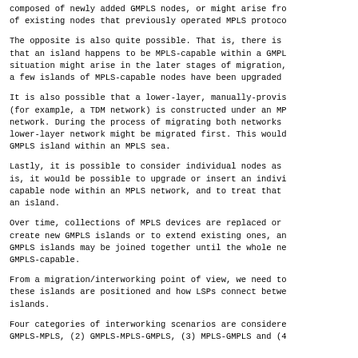composed of newly added GMPLS nodes, or might arise from the upgrade of existing nodes that previously operated MPLS protocols.
The opposite is also quite possible. That is, there is the possibility that an island happens to be MPLS-capable within a GMPLS sea. This situation might arise in the later stages of migration, when all but a few islands of MPLS-capable nodes have been upgraded.
It is also possible that a lower-layer, manually-provisioned network (for example, a TDM network) is constructed under an MPLS-capable network. During the process of migrating both networks to GMPLS, the lower-layer network might be migrated first. This would result in a GMPLS island within an MPLS sea.
Lastly, it is possible to consider individual nodes as islands. That is, it would be possible to upgrade or insert an individual GMPLS-capable node within an MPLS network, and to treat that single node as an island.
Over time, collections of MPLS devices are replaced or upgraded to create new GMPLS islands or to extend existing ones, and eventually GMPLS islands may be joined together until the whole network becomes GMPLS-capable.
From a migration/interworking point of view, we need to understand how these islands are positioned and how LSPs connect between and within islands.
Four categories of interworking scenarios are considered: (1) GMPLS-MPLS, (2) GMPLS-MPLS-GMPLS, (3) MPLS-GMPLS and (4)